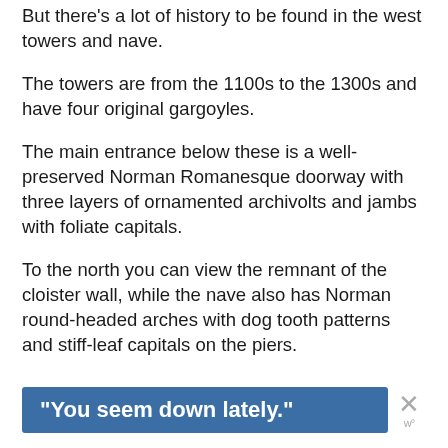But there's a lot of history to be found in the west towers and nave.
The towers are from the 1100s to the 1300s and have four original gargoyles.
The main entrance below these is a well-preserved Norman Romanesque doorway with three layers of ornamented archivolts and jambs with foliate capitals.
To the north you can view the remnant of the cloister wall, while the nave also has Norman round-headed arches with dog tooth patterns and stiff-leaf capitals on the piers.
[Figure (other): Advertisement banner with blue background reading 'You seem down lately.' with a close/dismiss X button and a small W logo]